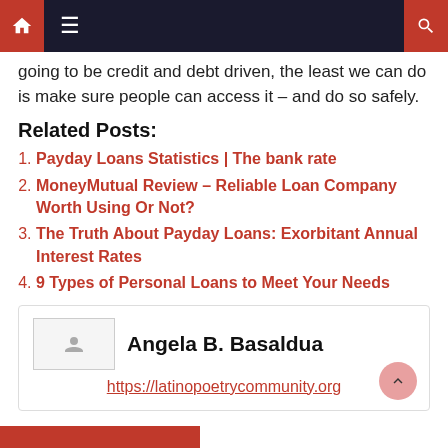Navigation bar with home, menu, and search icons
going to be credit and debt driven, the least we can do is make sure people can access it – and do so safely.
Related Posts:
Payday Loans Statistics | The bank rate
MoneyMutual Review – Reliable Loan Company Worth Using Or Not?
The Truth About Payday Loans: Exorbitant Annual Interest Rates
9 Types of Personal Loans to Meet Your Needs
Angela B. Basaldua
https://latinopoetrycommunity.org